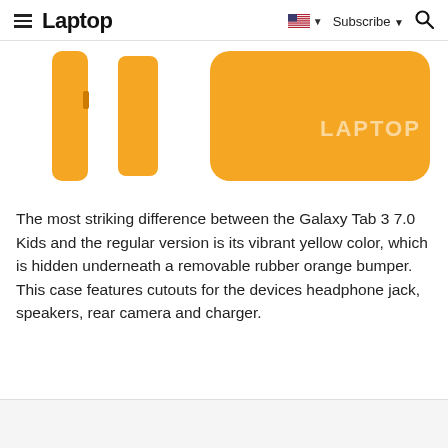Laptop | Subscribe
[Figure (photo): Orange rubber bumper case for Samsung Galaxy Tab 3 7.0 Kids edition, showing the case from multiple angles against a white background. The LAPTOP watermark is visible on the image.]
The most striking difference between the Galaxy Tab 3 7.0 Kids and the regular version is its vibrant yellow color, which is hidden underneath a removable rubber orange bumper. This case features cutouts for the devices headphone jack, speakers, rear camera and charger.